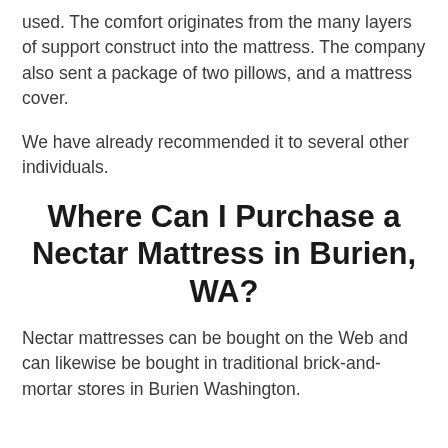used. The comfort originates from the many layers of support construct into the mattress. The company also sent a package of two pillows, and a mattress cover.
We have already recommended it to several other individuals.
Where Can I Purchase a Nectar Mattress in Burien, WA?
Nectar mattresses can be bought on the Web and can likewise be bought in traditional brick-and-mortar stores in Burien Washington.